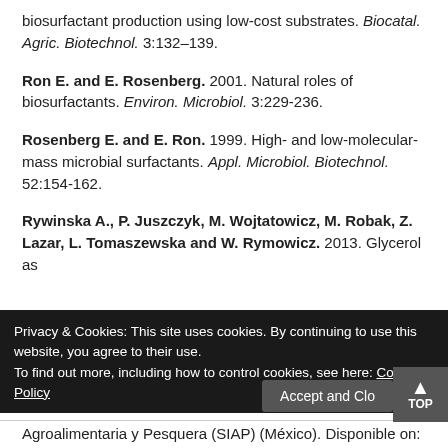biosurfactant production using low-cost substrates. Biocatal. Agric. Biotechnol. 3:132–139.
Ron E. and E. Rosenberg. 2001. Natural roles of biosurfactants. Environ. Microbiol. 3:229-236.
Rosenberg E. and E. Ron. 1999. High- and low-molecular-mass microbial surfactants. Appl. Microbiol. Biotechnol. 52:154-162.
Rywinska A., P. Juszczyk, M. Wojtatowicz, M. Robak, Z. Lazar, L. Tomaszewska and W. Rymowicz. 2013. Glycerol as a substrate for...
Privacy & Cookies: This site uses cookies. By continuing to use this website, you agree to their use. To find out more, including how to control cookies, see here: Cookie Policy
Agroalimentaria y Pesquera (SIAP) (México). Disponible on: